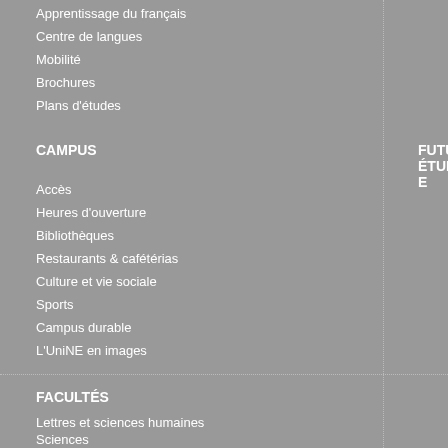Apprentissage du français
Centre de langues
Mobilité
Brochures
Plans d'études
CAMPUS
FUTUR-E ÉTUDIANT-E
Accès
Heures d'ouverture
Bibliothèques
Restaurants & cafétérias
Culture et vie sociale
Sports
Campus durable
L'UniNE en images
FACULTÉS
Lettres et sciences humaines
Sciences
Droit